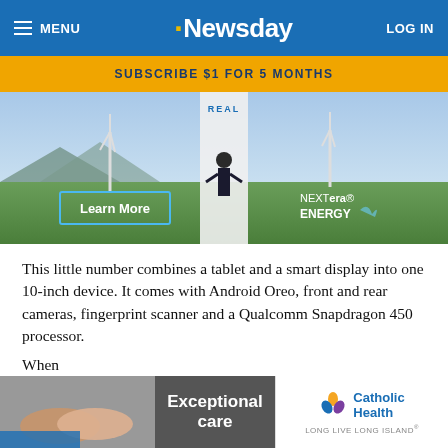MENU | Newsday | LOG IN
SUBSCRIBE $1 FOR 5 MONTHS
[Figure (photo): NextEra Energy advertisement showing a wind energy worker standing in front of a wind turbine with green fields and other turbines in the background. A 'Learn More' button is visible on the lower left and the NextEra Energy logo on the lower right.]
This little number combines a tablet and a smart display into one 10-inch device. It comes with Android Oreo, front and rear cameras, fingerprint scanner and a Qualcomm Snapdragon 450 processor.
When
[Figure (photo): Catholic Health advertisement showing hands being held, with text 'Exceptional care' and the Catholic Health logo with tagline 'LONG LIVE LONG ISLAND'.]